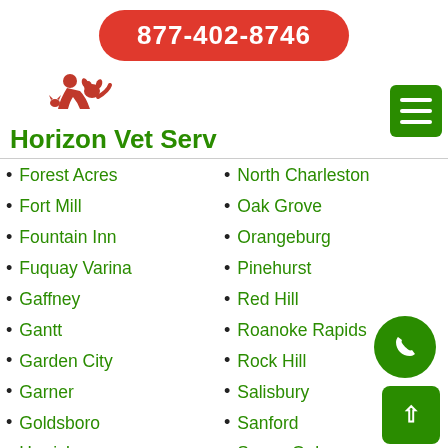877-402-8746
[Figure (logo): Horizon Vet Serv logo with red silhouette of person with dog and cat]
Horizon Vet Serv
Forest Acres
Fort Mill
Fountain Inn
Fuquay Varina
Gaffney
Gantt
Garden City
Garner
Goldsboro
Harrisburg
Hartsville
Hazelwood
Hickory
North Charleston
Oak Grove
Orangeburg
Pinehurst
Red Hill
Roanoke Rapids
Rock Hill
Salisbury
Sanford
Seven Oaks
Shelby
Simpsonville
Smithfield